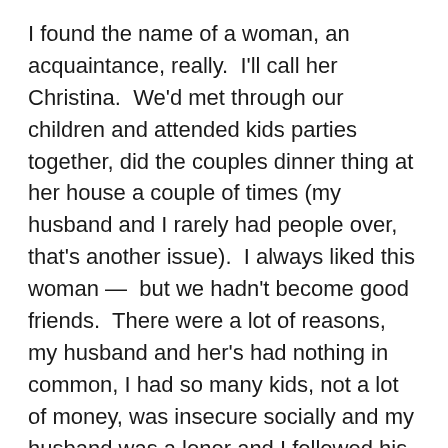I found the name of a woman, an acquaintance, really.  I'll call her Christina.  We'd met through our children and attended kids parties together, did the couples dinner thing at her house a couple of times (my husband and I rarely had people over, that's another issue).  I always liked this woman —  but we hadn't become good friends.  There were a lot of reasons, my husband and her's had nothing in common, I had so many kids, not a lot of money, was insecure socially and my husband was a loner and I followed his lead, as I'd been conditioned to do.  Christina, a lawyer turned stay-at-home mom ,was also a professor's wife with a manageable sized family.  They entertained, they traveled, and she spoke three languages.  This was not her home town.  I think I felt inadequate around her, though we were both lawyers, or maybe it was that I saw in her a life I'd missed out on.  Huh.  But, I digress.